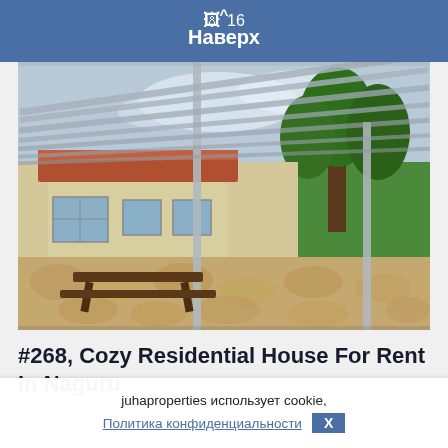^ Наверх  🖼 16
[Figure (photo): Outdoor patio of a residential house with a metal pergola/shade structure overhead, a wooden picnic table on a stone-tiled courtyard, a white single-story house in the background, and large trees with green lawn on the right side.]
#268, Cozy Residential House For Rent In Naguru
juhaproperties использует cookie,
Политика конфиденциальности  X